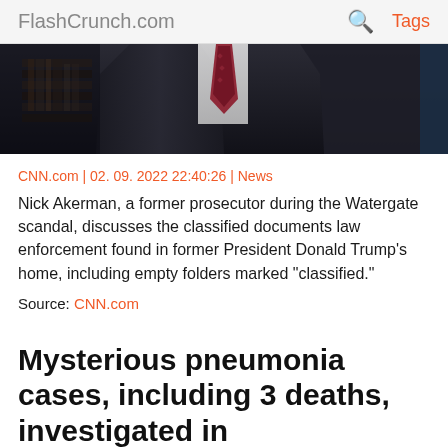FlashCrunch.com | Tags
[Figure (photo): Photo of a man in a dark suit with a red tie, partial torso view, dark background with bookshelves]
CNN.com | 02. 09. 2022 22:40:26 | News
Nick Akerman, a former prosecutor during the Watergate scandal, discusses the classified documents law enforcement found in former President Donald Trump's home, including empty folders marked "classified."
Source: CNN.com
Mysterious pneumonia cases, including 3 deaths, investigated in